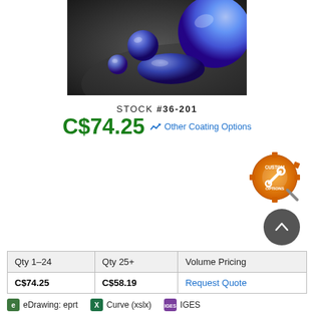[Figure (photo): Product photo showing blue/purple glass lens spheres and oval shapes on dark background]
STOCK #36-201
C$74.25  Other Coating Options
[Figure (logo): Custom Options gear badge icon in orange]
| Qty 1-24 | Qty 25+ | Volume Pricing |
| --- | --- | --- |
| C$74.25 | C$58.19 | Request Quote |
eDrawing: eprt   Curve (xslx)   IGES